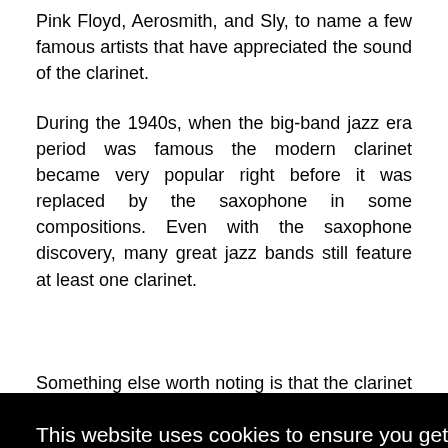Pink Floyd, Aerosmith, and Sly, to name a few famous artists that have appreciated the sound of the clarinet.
During the 1940s, when the big-band jazz era period was famous the modern clarinet became very popular right before it was replaced by the saxophone in some compositions. Even with the saxophone discovery, many great jazz bands still feature at least one clarinet.
Something else worth noting is that the clarinet has inspired the invention of other instruments as well. The
[Figure (screenshot): Cookie consent overlay popup with black background. Text reads: 'This website uses cookies to ensure you get the best experience on our website.' with a 'Learn more' link, and two buttons: 'Decline' (white text) and 'Allow cookies' (yellow button with black text).]
when it end of the day, it comes down to personal preference and the